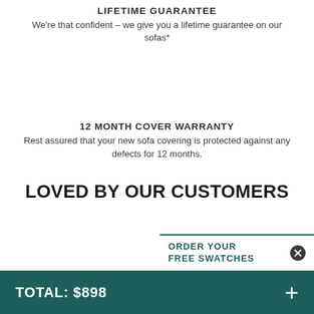LIFETIME GUARANTEE
We're that confident – we give you a lifetime guarantee on our sofas*
12 MONTH COVER WARRANTY
Rest assured that your new sofa covering is protected against any defects for 12 months.
LOVED BY OUR CUSTOMERS
ORDER YOUR FREE SWATCHES
TOTAL: $898